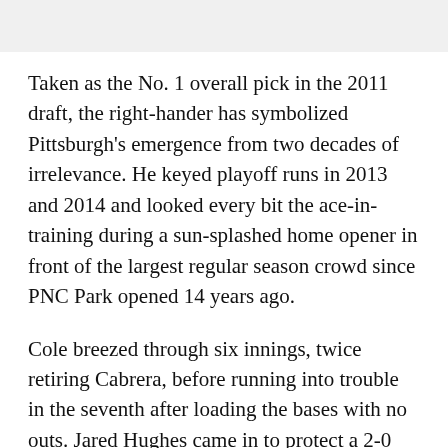Taken as the No. 1 overall pick in the 2011 draft, the right-hander has symbolized Pittsburgh's emergence from two decades of irrelevance. He keyed playoff runs in 2013 and 2014 and looked every bit the ace-in-training during a sun-splashed home opener in front of the largest regular season crowd since PNC Park opened 14 years ago.
Cole breezed through six innings, twice retiring Cabrera, before running into trouble in the seventh after loading the bases with no outs. Jared Hughes came in to protect a 2-0 lead.
His first pitched turned into a double play by Nick